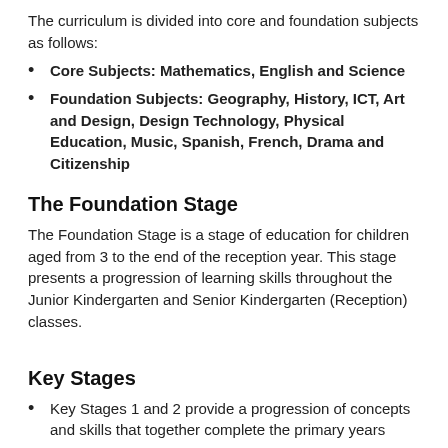The curriculum is divided into core and foundation subjects as follows:
Core Subjects: Mathematics, English and Science
Foundation Subjects: Geography, History, ICT, Art and Design, Design Technology, Physical Education, Music, Spanish, French, Drama and Citizenship
The Foundation Stage
The Foundation Stage is a stage of education for children aged from 3 to the end of the reception year. This stage presents a progression of learning skills throughout the Junior Kindergarten and Senior Kindergarten (Reception) classes.
Key Stages
Key Stages 1 and 2 provide a progression of concepts and skills that together complete the primary years
Key Stage 1 covers the programme of education for our